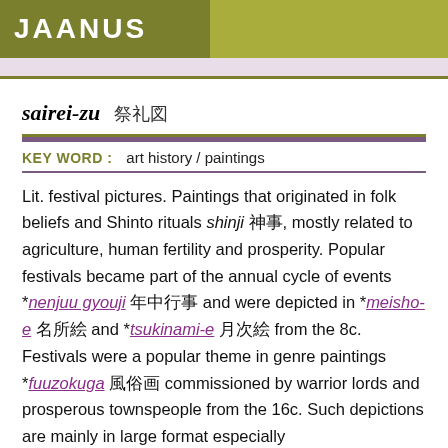JAANUS
sairei-zu 祭礼図
KEY WORD :   art history / paintings
Lit. festival pictures. Paintings that originated in folk beliefs and Shinto rituals shinji 神事, mostly related to agriculture, human fertility and prosperity. Popular festivals became part of the annual cycle of events *nenjuu gyouji 年中行事 and were depicted in *meisho-e 名所絵 and *tsukinami-e 月次絵 from the 8c. Festivals were a popular theme in genre paintings *fuuzokuga 風俗画 commissioned by warrior lords and prosperous townspeople from the 16c. Such depictions are mainly in large format especially